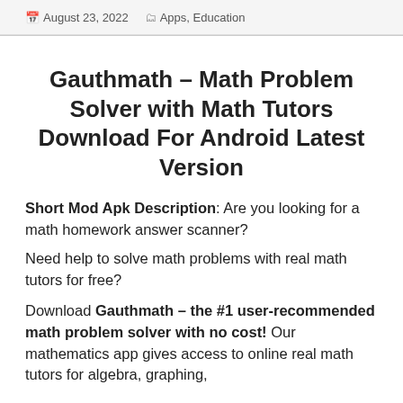August 23, 2022   Apps, Education
Gauthmath – Math Problem Solver with Math Tutors Download For Android Latest Version
Short Mod Apk Description: Are you looking for a math homework answer scanner?
Need help to solve math problems with real math tutors for free?
Download Gauthmath – the #1 user-recommended math problem solver with no cost! Our mathematics app gives access to online real math tutors for algebra, graphing,